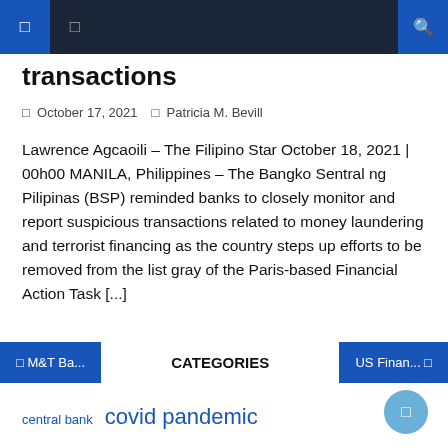Navigation bar with icons
transactions
October 17, 2021   Patricia M. Bevill
Lawrence Agcaoili – The Filipino Star October 18, 2021 | 00h00 MANILA, Philippines – The Bangko Sentral ng Pilipinas (BSP) reminded banks to closely monitor and report suspicious transactions related to money laundering and terrorist financing as the country steps up efforts to be removed from the list gray of the Paris-based Financial Action Task [...]
M&T Ba...   CATEGORIES   US Finan...
central bank  covid pandemic